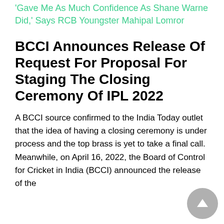'Gave Me As Much Confidence As Shane Warne Did,' Says RCB Youngster Mahipal Lomror
BCCI Announces Release Of Request For Proposal For Staging The Closing Ceremony Of IPL 2022
A BCCI source confirmed to the India Today outlet that the idea of having a closing ceremony is under process and the top brass is yet to take a final call. Meanwhile, on April 16, 2022, the Board of Control for Cricket in India (BCCI) announced the release of the